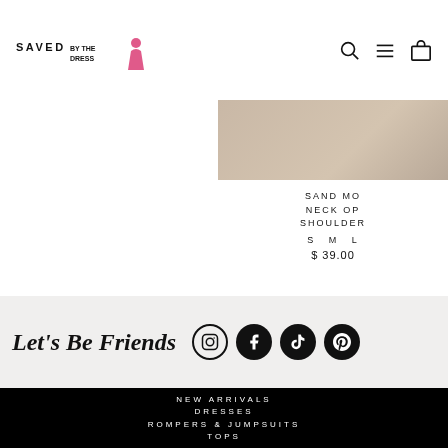SAVED BY THE DRESS (logo)
SAND MO... NECK OP... SHOULDER... S M L
$ 39.00
Let's Be Friends
NEW ARRIVALS
DRESSES
ROMPERS & JUMPSUITS
TOPS